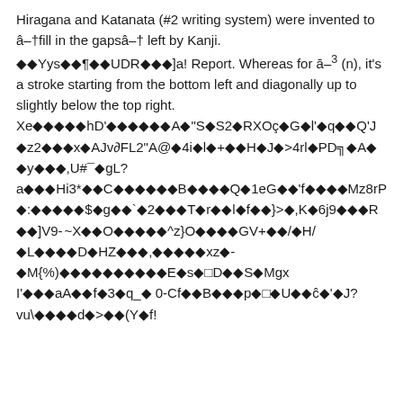Hiragana and Katanata (#2 writing system) were invented to â��fill in the gapsâ�� left by Kanji. ◆◆Yys◆◆¶◆◆UDR◆◆◆]a! Report. Whereas for ā�³ (n), it's a stroke starting from the bottom left and diagonally up to slightly below the top right. Xe◆◆◆◆◆hD'◆◆◆◆◆◆A◆"S◆S2◆RXOç◆G◆l'◆q◆◆Q'J◆z2◆◆◆x◆AJv∂FL2"A@◆4i◆l◆+◆◆H◆J◆>4rl◆PD╗◆A◆◆y◆◆◆,U#¯◆gL?a◆◆◆Hi3*◆◆C◆◆◆◆◆◆B◆◆◆◆Q◆1eG◆◆'f◆◆◆◆Mz8rP◆:◆◆◆◆◆$◆g◆◆`◆2◆◆◆T◆r◆◆l◆f◆◆}>◆,K◆6j9◆◆◆R◆◆]V9- ~X◆◆O◆◆◆◆◆^z}O◆◆◆◆GV+◆◆/◆H/◆L◆◆◆◆D◆HZ◆◆◆,◆◆◆◆◆xz◆-◆M{%)◆◆◆◆◆◆◆◆◆◆E◆s◆□D◆◆S◆Mgx I'◆◆◆aA◆◆f◆3◆q_◆ 0-Cf◆◆B◆◆◆p◆□◆U◆◆ĉ◆'◆J?vu\◆◆◆◆d◆>◆◆(Y◆f!